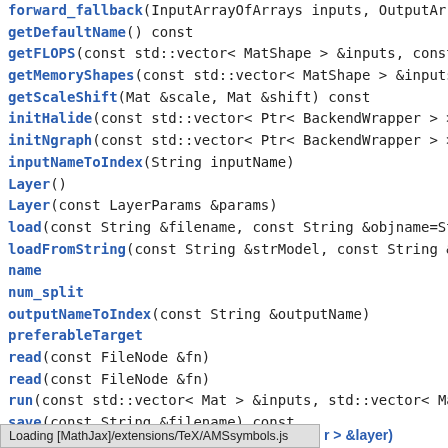forward_fallback(InputArrayOfArrays inputs, OutputArrayOfArrays o
getDefaultName() const
getFLOPS(const std::vector< MatShape > &inputs, const std::vector<
getMemoryShapes(const std::vector< MatShape > &inputs, const int
getScaleShift(Mat &scale, Mat &shift) const
initHalide(const std::vector< Ptr< BackendWrapper > > &inputs)
initNgraph(const std::vector< Ptr< BackendWrapper > > &inputs, con
inputNameToIndex(String inputName)
Layer()
Layer(const LayerParams &params)
load(const String &filename, const String &objname=String())
loadFromString(const String &strModel, const String &objname=Stri
name
num_split
outputNameToIndex(const String &outputName)
preferableTarget
read(const FileNode &fn)
read(const FileNode &fn)
run(const std::vector< Mat > &inputs, std::vector< Mat > &outputs, sto
save(const String &filename) const
Loading [MathJax]/extensions/TeX/AMSsymbols.js
r > &layer)